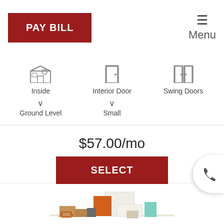[Figure (screenshot): PAY BILL button (dark red) and hamburger menu with Menu label in top navigation bar]
[Figure (screenshot): Storage unit options selector showing Inside, Interior Door, Swing Doors icons with Ground Level and Small dropdowns, price $57.00/mo and SELECT button]
[Figure (photo): 3D illustration of household goods/boxes and furniture items stacked together for storage unit advertisement]